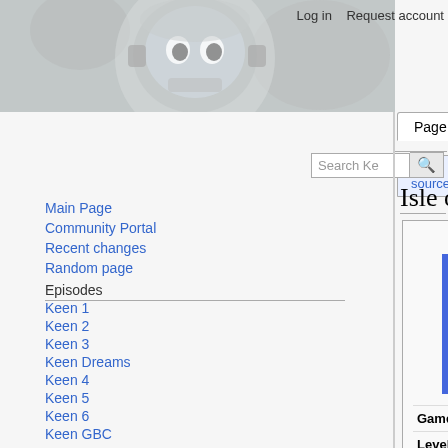[Figure (illustration): Wiki mascot — cartoon astronaut/robot character in helmet, grayscale, occupies top-left header area]
Log in   Request account
Page  Discussion  View source  View history  Search Ke [search button]
Isle of Tar
[Figure (illustration): Isle of Tar game map — pixelated top-down view of a green island with tar pits (black patches), orange/brown rocky areas, on a blue water background. A small red figure visible near top-right of the island.]
|  |  |
| --- | --- |
| Game | Keen 4 |
| Level number | 15 |
| Location | Three-Tooth Lake |
| Collectibles | None |
| Dimensions | 112 x 92 tiles |
| Total points | 28,800 |
Main Page
Community Portal
Recent changes
Random page
Episodes
Keen 1
Keen 2
Keen 3
Keen Dreams
Keen 4
Keen 5
Keen 6
Keen GBC